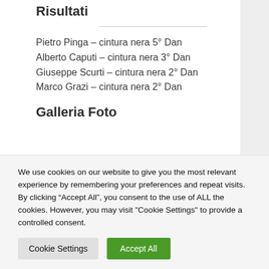Risultati
Pietro Pinga – cintura nera 5° Dan
Alberto Caputi – cintura nera 3° Dan
Giuseppe Scurti – cintura nera 2° Dan
Marco Grazi – cintura nera 2° Dan
Galleria Foto
We use cookies on our website to give you the most relevant experience by remembering your preferences and repeat visits. By clicking “Accept All”, you consent to the use of ALL the cookies. However, you may visit "Cookie Settings" to provide a controlled consent.
Cookie Settings | Accept All